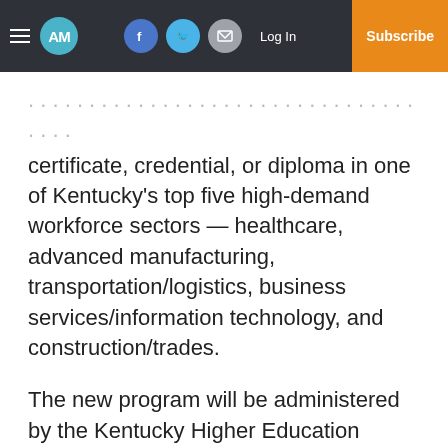AM | Log In | Subscribe
certificate, credential, or diploma in one of Kentucky's top five high-demand workforce sectors — healthcare, advanced manufacturing, transportation/logistics, business services/information technology, and construction/trades.
The new program will be administered by the Kentucky Higher Education Assistance Authority (KHEAA), and eligible individuals can access WRKS funding until they reach one of the following benchmarks — attainment of an associate's degree,